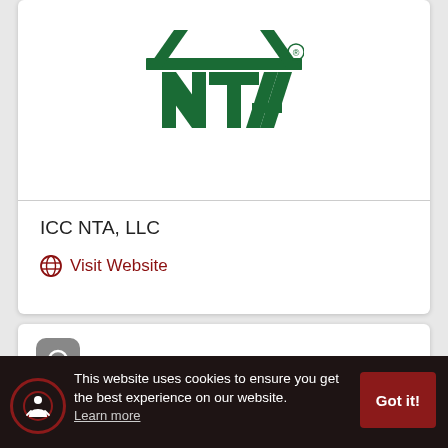[Figure (logo): NTA logo — green stylized house/roof shape with NTA letters, registered trademark symbol]
ICC NTA, LLC
Visit Website
[Figure (logo): Second organization logo — gray rounded square icon with circular lens/camera symbol]
This website uses cookies to ensure you get the best experience on our website.
Learn more
Got it!